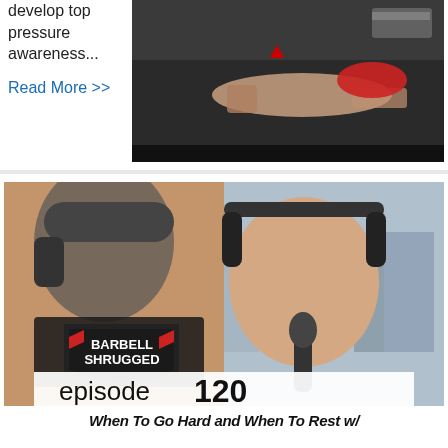develop top pressure awareness...
Read More >>
[Figure (photo): A tattooed person doing a push-up on a dark mat in a gym setting]
[Figure (photo): Barbell Shrugged podcast episode 120 thumbnail featuring a man wearing headphones and speaking into a microphone]
When To Go Hard and When To Rest w/